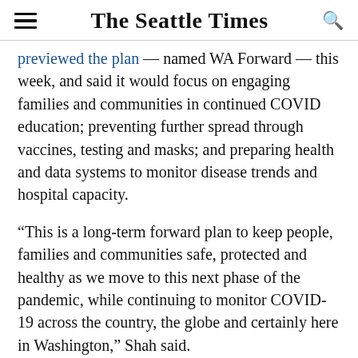The Seattle Times
previewed the plan — named WA Forward — this week, and said it would focus on engaging families and communities in continued COVID education; preventing further spread through vaccines, testing and masks; and preparing health and data systems to monitor disease trends and hospital capacity.
“This is a long-term forward plan to keep people, families and communities safe, protected and healthy as we move to this next phase of the pandemic, while continuing to monitor COVID-19 across the country, the globe and certainly here in Washington,” Shah said.
The plan, which state officials say will be